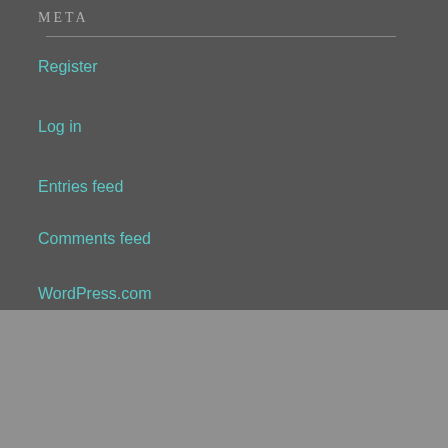META
Register
Log in
Entries feed
Comments feed
WordPress.com
My Tweets